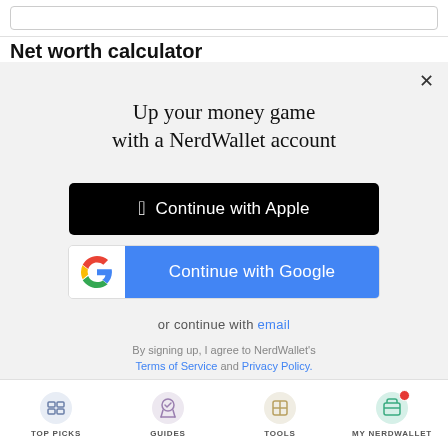Net worth calculator
[Figure (screenshot): Modal dialog with 'Up your money game with a NerdWallet account' headline, Continue with Apple button, Continue with Google button, or continue with email link, and Terms of Service / Privacy Policy text]
TOP PICKS | GUIDES | TOOLS | MY NERDWALLET